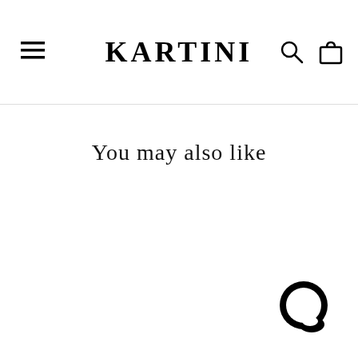KARTINI
You may also like
[Figure (other): Chat bubble icon in bottom right corner]